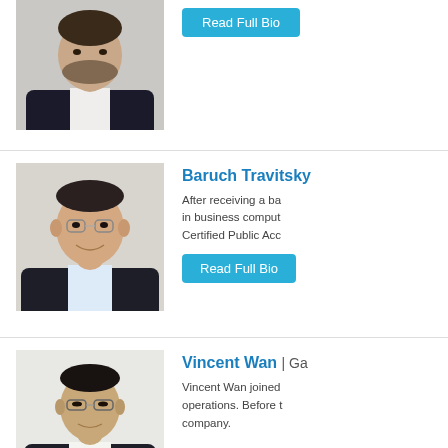[Figure (photo): Professional headshot of a man in a dark suit, cropped at top of page]
Read Full Bio
[Figure (photo): Professional headshot of Baruch Travitsky, a man with glasses and dark suit]
Baruch Travitsky
After receiving a ba in business comput Certified Public Acc
Read Full Bio
[Figure (photo): Professional headshot of Vincent Wan, an Asian man with glasses]
Vincent Wan | Ga
Vincent Wan joined operations. Before t company.
After receiving a ba